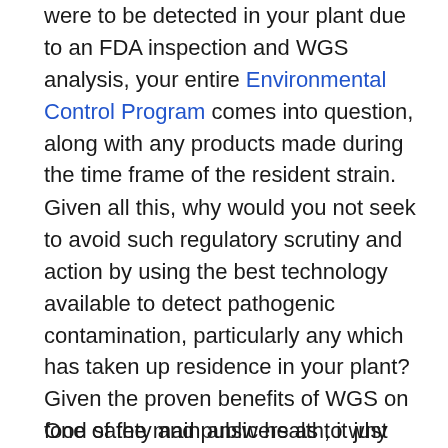were to be detected in your plant due to an FDA inspection and WGS analysis, your entire Environmental Control Program comes into question, along with any products made during the time frame of the resident strain.
Given all this, why would you not seek to avoid such regulatory scrutiny and action by using the best technology available to detect pathogenic contamination, particularly any which has taken up residence in your plant? Given the proven benefits of WGS on food safety and public health, it just makes sense for consumer and brand protection.
One of the main answers as to why companies